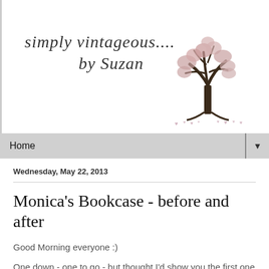[Figure (logo): Blog logo with cursive script text 'simply vintageous.... by Suzan' and a decorative tree illustration with pink heart-shaped leaves and small heart decorations at the base]
Home ▼
Wednesday, May 22, 2013
Monica's Bookcase - before and after
Good Morning everyone :)
One down - one to go - but thought I'd show you the first one ( they're going to be identical anyway )